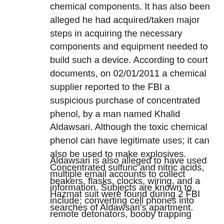chemical components. It has also been alleged he had acquired/taken major steps in acquiring the necessary components and equipment needed to build such a device. According to court documents, on 02/01/2011 a chemical supplier reported to the FBI a suspicious purchase of concentrated phenol, by a man named Khalid Aldawsari. Although the toxic chemical phenol can have legitimate uses; it can also be used to make explosives. Concentrated sulfuric and nitric acids, beakers, flasks, clocks, wiring, and a Hazmat suit were found during 2 FBI searches of Aldawsari's apartment.
Aldawsari is also alleged to have used multiple email accounts to collect information. Subjects are known to include; converting cell phones into remote detonators, booby trapping vehicles using everyday items, and researching possible targets. A series of emails allegedly sent to himself included the names and home addresses of 3 former members of the U.S. military who had been stationed at Abu Ghraib Prison, Iraq, in addition to the address of former President George W Bush. Other